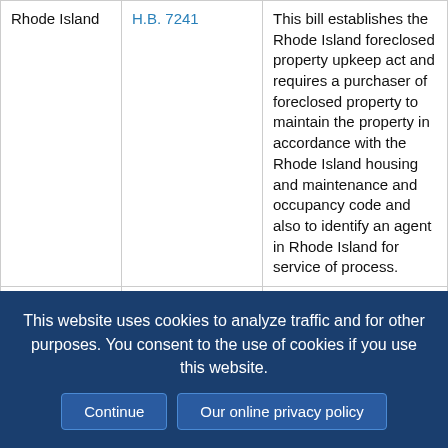| State | Bill | Description |
| --- | --- | --- |
| Rhode Island | H.B. 7241 | This bill establishes the Rhode Island foreclosed property upkeep act and requires a purchaser of foreclosed property to maintain the property in accordance with the Rhode Island housing and maintenance and occupancy code and also to identify an agent in Rhode Island for service of process. |
| Rhode Island | H.B. 7281 Withdrawn at sponsor's request 3/2/16 | This bill requires mortgagees, upon filing notice of intent to foreclose against a mortgagor, to file a copy of that notice with the city or town municipal clerk, and appoint an agent for service of process within the state. Further, the bill requires a mortgagee who initiates a foreclosure proceeding… |
This website uses cookies to analyze traffic and for other purposes. You consent to the use of cookies if you use this website. Continue | Our online privacy policy